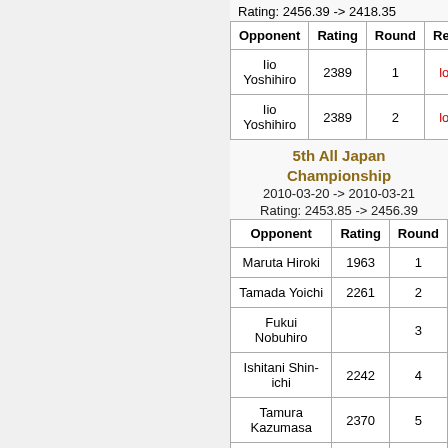Rating: 2456.39 -> 2418.35
| Opponent | Rating | Round | Result |
| --- | --- | --- | --- |
| Iio Yoshihiro | 2389 | 1 | loss |
| Iio Yoshihiro | 2389 | 2 | loss |
5th All Japan Championship
2010-03-20 -> 2010-03-21
Rating: 2453.85 -> 2456.39
| Opponent | Rating | Round |
| --- | --- | --- |
| Maruta Hiroki | 1963 | 1 |
| Tamada Yoichi | 2261 | 2 |
| Fukui Nobuhiro |  | 3 |
| Ishitani Shin-ichi | 2242 | 4 |
| Tamura Kazumasa | 2370 | 5 |
| Nagao Noriaki | 2172 | 6 |
40th Kyoto Classified - Special class